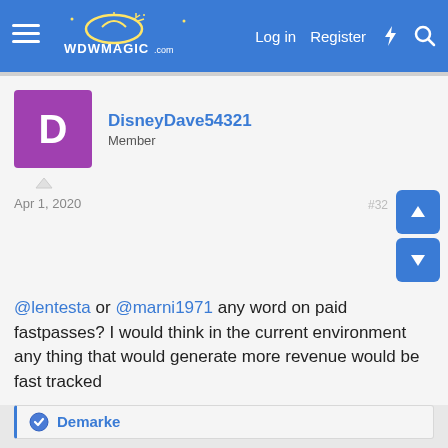WDWMAGIC.COM — Log in  Register
DisneyDave54321
Member
Apr 1, 2020
@lentesta or @marni1971 any word on paid fastpasses? I would think in the current environment any thing that would generate more revenue would be fast tracked
👍 Demarke
lentesta
Premium Member
Apr 1, 2020
DisneyDave54321 said: